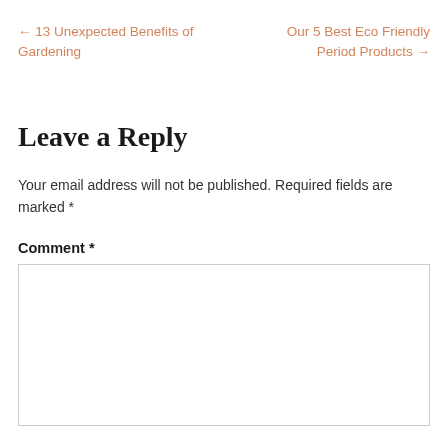← 13 Unexpected Benefits of Gardening
Our 5 Best Eco Friendly Period Products →
Leave a Reply
Your email address will not be published. Required fields are marked *
Comment *